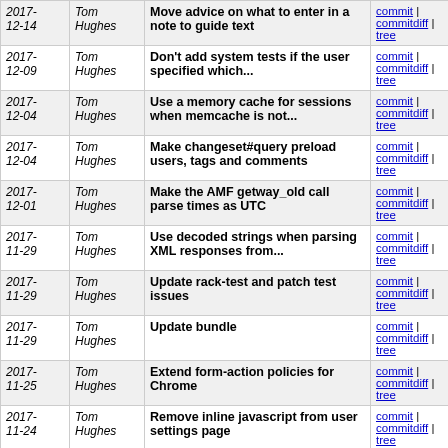| Date | Author | Message | Links |
| --- | --- | --- | --- |
| 2017-12-14 | Tom Hughes | Move advice on what to enter in a note to guide text | commit | commitdiff | tree |
| 2017-12-09 | Tom Hughes | Don't add system tests if the user specified which... | commit | commitdiff | tree |
| 2017-12-04 | Tom Hughes | Use a memory cache for sessions when memcache is not... | commit | commitdiff | tree |
| 2017-12-04 | Tom Hughes | Make changeset#query preload users, tags and comments | commit | commitdiff | tree |
| 2017-12-01 | Tom Hughes | Make the AMF getway_old call parse times as UTC | commit | commitdiff | tree |
| 2017-11-29 | Tom Hughes | Use decoded strings when parsing XML responses from... | commit | commitdiff | tree |
| 2017-11-29 | Tom Hughes | Update rack-test and patch test issues | commit | commitdiff | tree |
| 2017-11-29 | Tom Hughes | Update bundle | commit | commitdiff | tree |
| 2017-11-25 | Tom Hughes | Extend form-action policies for Chrome | commit | commitdiff | tree |
| 2017-11-24 | Tom Hughes | Remove inline javascript from user settings page | commit | commitdiff | tree |
| 2017-11-24 | Tom Hughes | Allow iD to fetch gpx files from arbitrary locations | commit | commitdiff | tree |
| 2017-11-24 | Tom Hughes | Fix security policy for mapillary in iD | commit | commitdiff | tree |
| 2017-11-24 | Tom Hughes | Fix remote editing security policy | commit | commitdiff | tree |